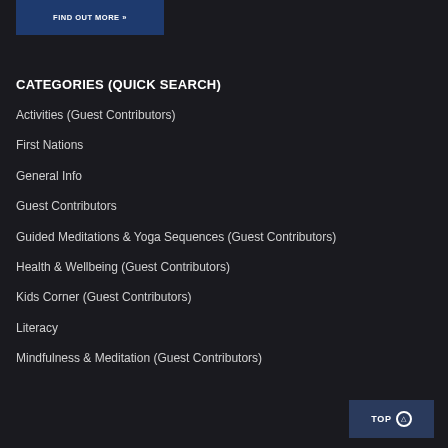[Figure (other): Blue button with text FIND OUT MORE with double right arrows]
CATEGORIES (QUICK SEARCH)
Activities (Guest Contributors)
First Nations
General Info
Guest Contributors
Guided Meditations & Yoga Sequences (Guest Contributors)
Health & Wellbeing (Guest Contributors)
Kids Corner (Guest Contributors)
Literacy
Mindfulness & Meditation (Guest Contributors)